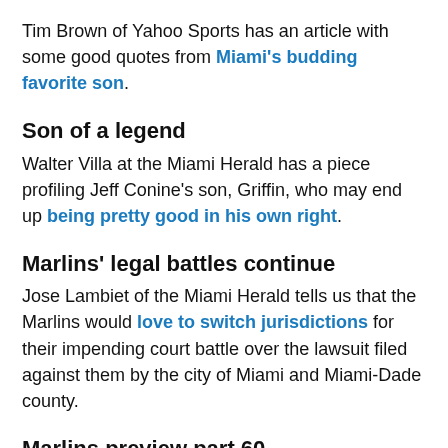Tim Brown of Yahoo Sports has an article with some good quotes from Miami's budding favorite son.
Son of a legend
Walter Villa at the Miami Herald has a piece profiling Jeff Conine's son, Griffin, who may end up being pretty good in his own right.
Marlins' legal battles continue
Jose Lambiet of the Miami Herald tells us that the Marlins would love to switch jurisdictions for their impending court battle over the lawsuit filed against them by the city of Miami and Miami-Dade county.
Marlins preview part 60
If you're not tired of previews yet (and who isn't...let's get this show on the road already!), here's one from